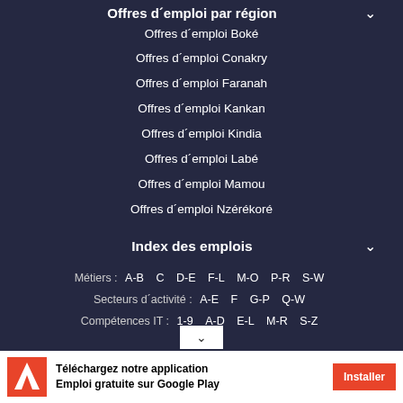Offres d'emploi par région
Offres d´emploi Boké
Offres d´emploi Conakry
Offres d´emploi Faranah
Offres d´emploi Kankan
Offres d´emploi Kindia
Offres d´emploi Labé
Offres d´emploi Mamou
Offres d´emploi Nzérékoré
Index des emplois
Métiers : A-B  C  D-E  F-L  M-O  P-R  S-W
Secteurs d´activité : A-E  F  G-P  Q-W
Compétences IT : 1-9  A-D  E-L  M-R  S-Z
Téléchargez notre application Emploi gratuite sur Google Play